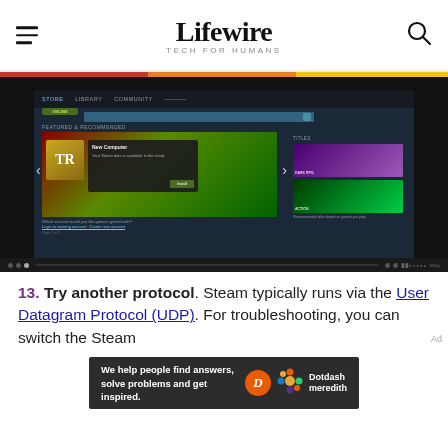Lifewire — TECH FOR HUMANS
[Figure (screenshot): Steam desktop application screenshot showing the store page with a featured game, navigation bar with STORE, LIBRARY, COMMUNITY tabs, a new computer dialog box overlay, and sidebar game thumbnails. Video player controls visible at bottom.]
13. Try another protocol. Steam typically runs via the User Datagram Protocol (UDP). For troubleshooting, you can switch the Steam
[Figure (other): Dotdash Meredith advertisement banner: 'We help people find answers, solve problems and get inspired.' with Dotdash Meredith logo.]